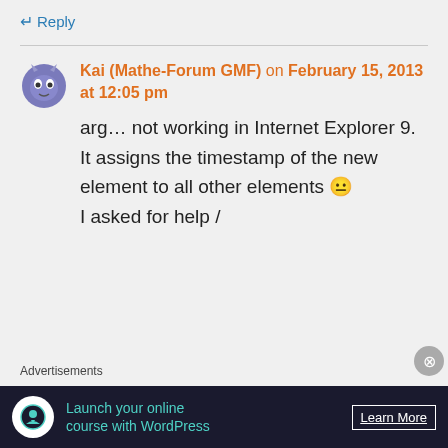↵ Reply
Kai (Mathe-Forum GMF) on February 15, 2013 at 12:05 pm
arg… not working in Internet Explorer 9. It assigns the timestamp of the new element to all other elements 😐 I asked for help /
Advertisements
Launch your online course with WordPress   Learn More